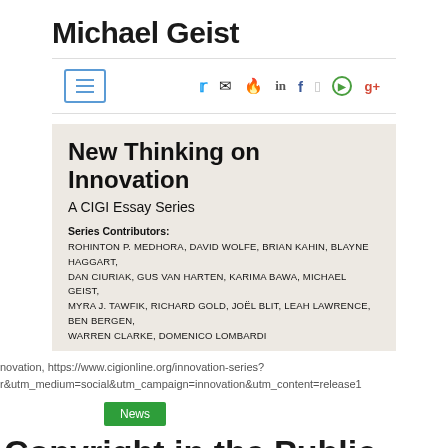Michael Geist
[Figure (screenshot): Navigation bar with hamburger menu icon and social media icons: Twitter, email, fire/Medium, LinkedIn, Facebook, Apple, Spotify, Google+]
[Figure (photo): Book cover image for 'New Thinking on Innovation: A CIGI Essay Series' with contributors including Rohinton P. Medhora, David Wolfe, Brian Kahin, Blayne Haggart, Dan Ciuriak, Gus Van Harten, Karima Bawa, Michael Geist, Myra J. Tawfik, Richard Gold, Joël Blit, Leah Lawrence, Ben Bergen, Warren Clarke, Domenico Lombardi]
novation, https://www.cigionline.org/innovation-series?r&utm_medium=social&utm_campaign=innovation&utm_content=release1
News
Copyright in the Public